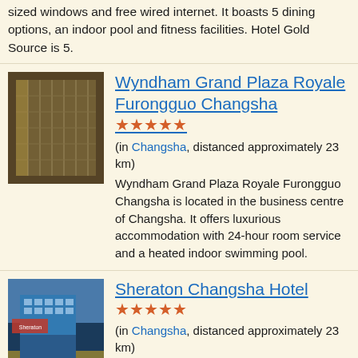sized windows and free wired internet. It boasts 5 dining options, an indoor pool and fitness facilities. Hotel Gold Source is 5.
[Figure (photo): Photo of Wyndham Grand Plaza Royale Furongguo Changsha hotel exterior, showing tall modern building with metallic facade]
Wyndham Grand Plaza Royale Furongguo Changsha ★★★★★
(in Changsha, distanced approximately 23 km)
Wyndham Grand Plaza Royale Furongguo Changsha is located in the business centre of Changsha. It offers luxurious accommodation with 24-hour room service and a heated indoor swimming pool.
[Figure (photo): Photo of Sheraton Changsha Hotel exterior, modern glass building with Sheraton signage]
Sheraton Changsha Hotel ★★★★★
(in Changsha, distanced approximately 23 km)
Sheraton Changsha Hotel is located in the Yunda Business District, a 10-minute drive